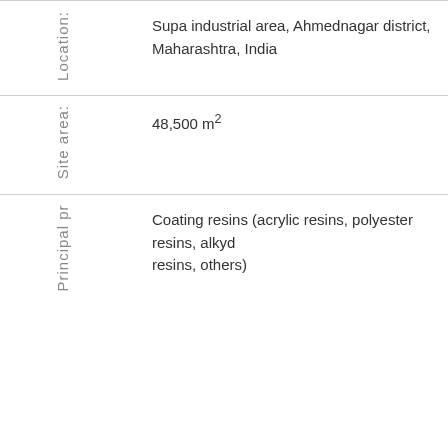| Label | Value |
| --- | --- |
| Location: | Supa industrial area, Ahmednagar district, Maharashtra, India |
| Site area: | 48,500 m² |
| Principal pr… | Coating resins (acrylic resins, polyester resins, alkyd resins, others) |